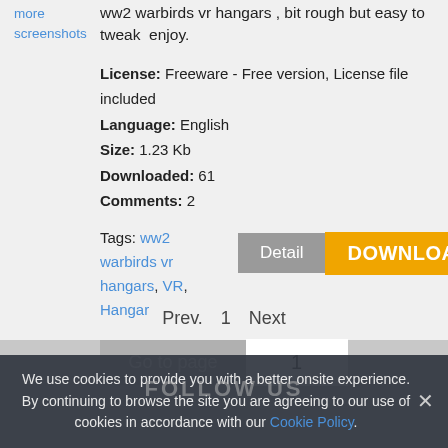more screenshots
ww2 warbirds vr hangars , bit rough but easy to tweak  enjoy.
License: Freeware - Free version, License file included
Language: English
Size: 1.23 Kb
Downloaded: 61
Comments: 2
Tags: ww2 warbirds vr hangars, VR, Hangar
Detail
DOWNLOAD
Prev.  1  Next
Go to page  1
We use cookies to provide you with a better onsite experience. By continuing to browse the site you are agreeing to our use of cookies in accordance with our Cookie Policy.
FOLLOW US